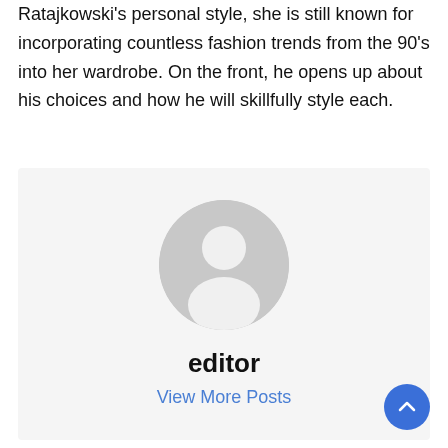Ratajkowski's personal style, she is still known for incorporating countless fashion trends from the 90's into her wardrobe. On the front, he opens up about his choices and how he will skillfully style each.
[Figure (illustration): Author box with a gray default avatar (person silhouette), bold text 'editor', and a blue 'View More Posts' link below on a light gray background.]